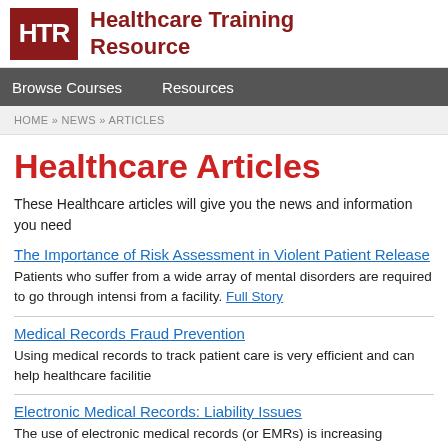HTR Healthcare Training Resource
Browse Courses | Resources
HOME » NEWS » ARTICLES
Healthcare Articles
These Healthcare articles will give you the news and information you need
The Importance of Risk Assessment in Violent Patient Release
Patients who suffer from a wide array of mental disorders are required to go through intensi from a facility. Full Story
Medical Records Fraud Prevention
Using medical records to track patient care is very efficient and can help healthcare facilitie
Electronic Medical Records: Liability Issues
The use of electronic medical records (or EMRs) is increasing substantially, and not just be records. Full Story